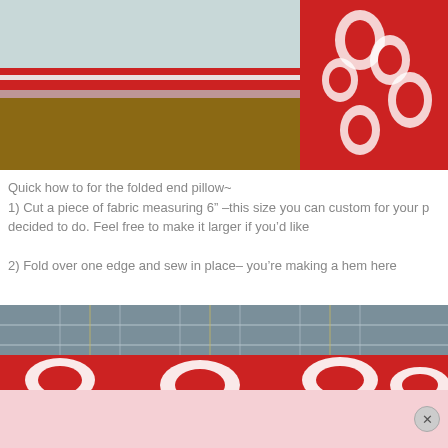[Figure (photo): Close-up photo of red and white striped fabric with a red floral patterned fabric folded at the top right corner, on a wooden surface]
Quick how to for the folded end pillow~
1) Cut a piece of fabric measuring 6" –this size you can custom for your p decided to do. Feel free to make it larger if you'd like
2) Fold over one edge and sew in place– you're making a hem here
[Figure (photo): Close-up photo of red and white patterned fabric with a leaf motif on a cutting mat with grid lines]
[Figure (photo): Advertisement or promotional bar at the bottom with a close/X button]